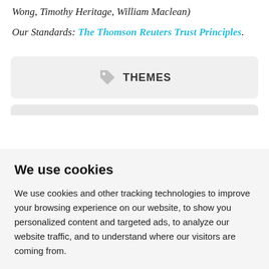Wong, Timothy Heritage, William Maclean)
Our Standards: The Thomson Reuters Trust Principles.
[Figure (other): A grey rounded button/tab labeled THEMES with a tag icon to its left]
[Figure (other): Partial grey rounded box visible at the bottom of the top section]
We use cookies
We use cookies and other tracking technologies to improve your browsing experience on our website, to show you personalized content and targeted ads, to analyze our website traffic, and to understand where our visitors are coming from.